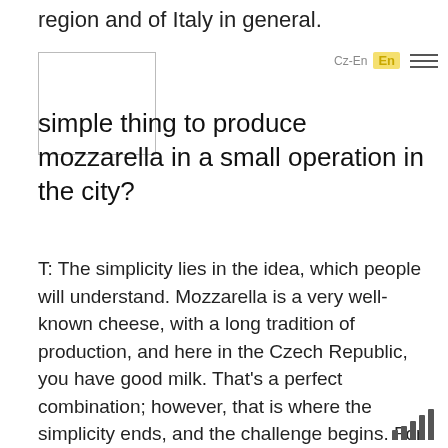region and of Italy in general.
[Figure (photo): Image placeholder box (white rectangle with border)]
simple thing to produce mozzarella in a small operation in the city?
T: The simplicity lies in the idea, which people will understand. Mozzarella is a very well-known cheese, with a long tradition of production, and here in the Czech Republic, you have good milk. That's a perfect combination; however, that is where the simplicity ends, and the challenge begins. For instance, to find people who are specialized in making mozzarella.